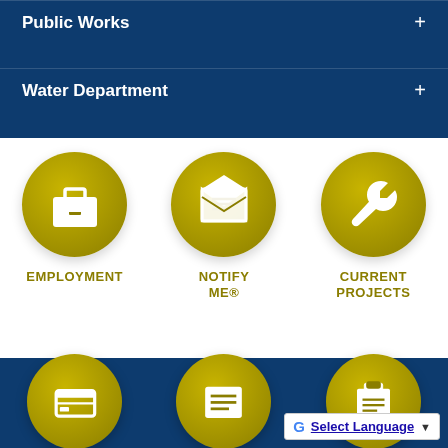Public Works +
Water Department +
[Figure (infographic): Three golden circular icons on white background: Employment (briefcase icon), Notify Me® (envelope icon), Current Projects (wrench icon)]
EMPLOYMENT
NOTIFY ME®
CURRENT PROJECTS
[Figure (infographic): Three partially visible golden circular icons on dark blue background at bottom of page, plus Google Translate button]
Select Language